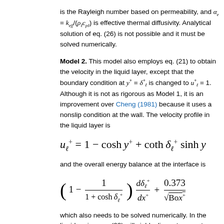is the Rayleigh number based on permeability, and α_e = k_eff/(ρ_ℓ c_pℓ) is effective thermal diffusivity. Analytical solution of eq. (26) is not possible and it must be solved numerically.
Model 2. This model also employs eq. (21) to obtain the velocity in the liquid layer, except that the boundary condition at y⁺ = δ_ℓ⁺ is changed to u_ℓ⁺ = 1. Although it is not as rigorous as Model 1, it is an improvement over Cheng (1981) because it uses a nonslip condition at the wall. The velocity profile in the liquid layer is
and the overall energy balance at the interface is
which also needs to be solved numerically. In the liquid region, eq. (22) will yield a linear temperature profile, and the local Nusselt